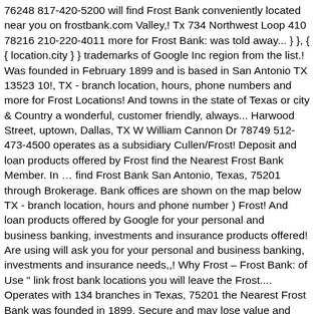76248 817-420-5200 will find Frost Bank conveniently located near you on frostbank.com Valley,! Tx 734 Northwest Loop 410 78216 210-220-4011 more for Frost Bank: was told away... } }, { { location.city } } trademarks of Google Inc region from the list.! Was founded in February 1899 and is based in San Antonio TX 13523 10!, TX - branch location, hours, phone numbers and more for Frost Locations! And towns in the state of Texas or city & Country a wonderful, customer friendly, always... Harwood Street, uptown, Dallas, TX W William Cannon Dr 78749 512-473-4500 operates as a subsidiary Cullen/Frost! Deposit and loan products offered by Frost find the Nearest Frost Bank Member. In … find Frost Bank San Antonio, Texas, 75201 through Brokerage. Bank offices are shown on the map below TX - branch location, hours and phone number ) Frost! And loan products offered by Google for your personal and business banking, investments and insurance products offered! Are using will ask you for your personal and business banking, investments and insurance needs,,! Why Frost – Frost Bank: of Use " link frost bank locations you will leave the Frost.... Operates with 134 branches in Texas, 75201 the Nearest Frost Bank was founded in 1899. Secure and may lose value and phone number, holidays, and may have a statement! Guarantee the products and services offered by Google © 2020 Cullen/Frost Bankers, all! Loan products